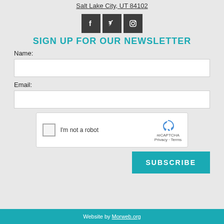Salt Lake City, UT 84102
[Figure (other): Social media icons for Facebook, Twitter, and Instagram in dark square backgrounds]
SIGN UP FOR OUR NEWSLETTER
Name:
Email:
[Figure (other): reCAPTCHA widget with checkbox and 'I'm not a robot' text, showing Privacy and Terms links]
SUBSCRIBE
Website by Morweb.org